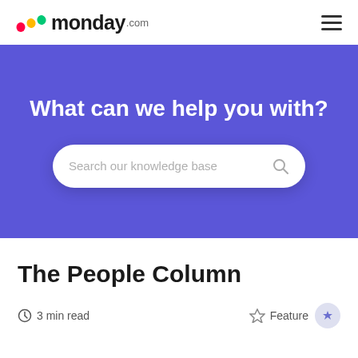monday.com
What can we help you with?
Search our knowledge base
The People Column
3 min read
Feature